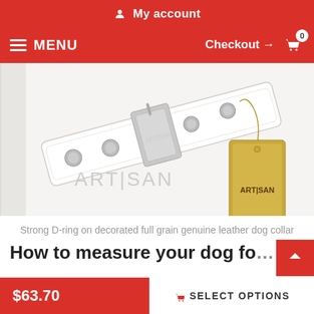My account
MENU   Checkout → 0
[Figure (photo): White leather dog collar with silver decorative studs, metal buckle, and an ARTISAN branded tag. The ARTISAN logo is also visible on the collar itself and on a tan cardboard hang tag.]
Strong D-ring on decorated full grain genuine leather dog collar
How to measure your dog fo…
$63.70
SELECT OPTIONS